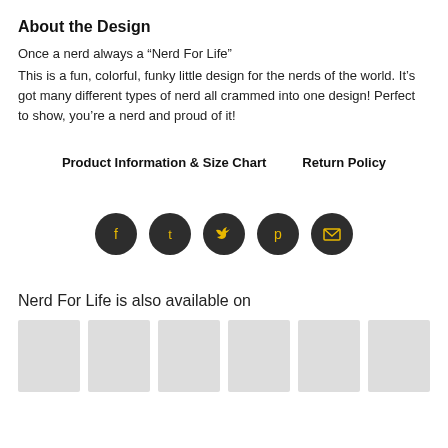About the Design
Once a nerd always a “Nerd For Life”
This is a fun, colorful, funky little design for the nerds of the world. It’s got many different types of nerd all crammed into one design! Perfect to show, you’re a nerd and proud of it!
Product Information & Size Chart    Return Policy
[Figure (infographic): Row of 5 dark circular social media icon buttons: Facebook, Tumblr, Twitter, Pinterest, Email (envelope). Icons are yellow/gold on dark circles.]
Nerd For Life is also available on
[Figure (other): Row of 6 gray placeholder thumbnail images showing product listings.]